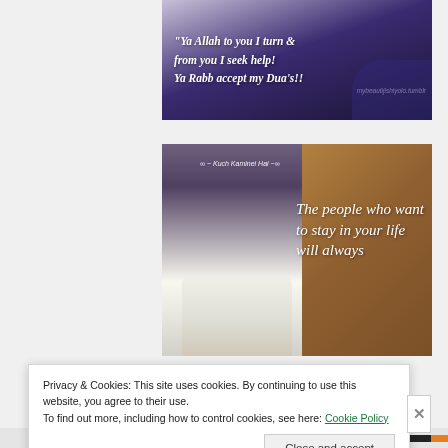[Figure (photo): Image with Islamic prayer quote on dark purple/blue gradient background with hands. Text reads: 'Ya Allah to you I turn & from you I seek help! Ya Rabb accept my Dua's!!' with watermark 'mybeautijishiyolo.tumblr']
[Figure (photo): Photo of person's feet/legs in jeans and white sneakers on a wooden platform, with quote text overlay: 'The people who want to stay in your life will always' and source tag '∞ ~ Kuch Kaminei Hai ~∞']
Privacy & Cookies: This site uses cookies. By continuing to use this website, you agree to their use.
To find out more, including how to control cookies, see here: Cookie Policy
Close and accept